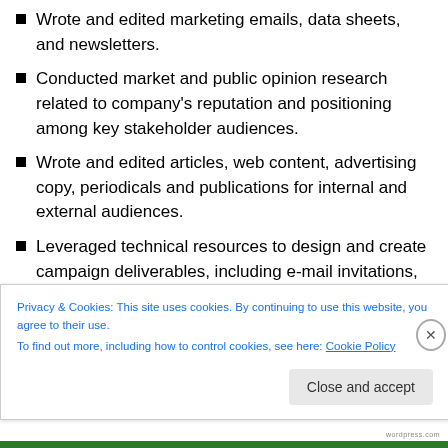Wrote and edited marketing emails, data sheets, and newsletters.
Conducted market and public opinion research related to company's reputation and positioning among key stakeholder audiences.
Wrote and edited articles, web content, advertising copy, periodicals and publications for internal and external audiences.
Leveraged technical resources to design and create campaign deliverables, including e-mail invitations,
Privacy & Cookies: This site uses cookies. By continuing to use this website, you agree to their use.
To find out more, including how to control cookies, see here: Cookie Policy